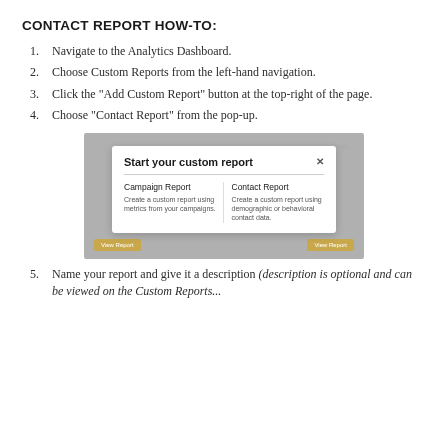CONTACT REPORT HOW-TO:
Navigate to the Analytics Dashboard.
Choose Custom Reports from the left-hand navigation.
Click the "Add Custom Report" button at the top-right of the page.
Choose "Contact Report" from the pop-up.
[Figure (screenshot): Screenshot of a modal dialog titled 'Start your custom report' with two options: Campaign Report and Contact Report, each with a brief description.]
Name your report and give it a description (description is optional and can be viewed on the Custom Reports...